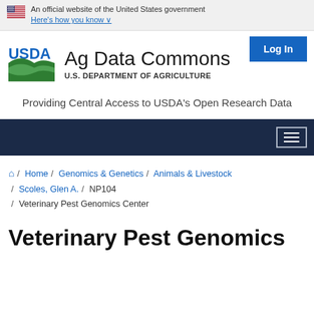An official website of the United States government
Here's how you know
[Figure (logo): USDA Ag Data Commons logo with USDA shield graphic and text 'Ag Data Commons / U.S. DEPARTMENT OF AGRICULTURE']
Providing Central Access to USDA's Open Research Data
Home / Genomics & Genetics / Animals & Livestock / Scoles, Glen A. / NP104 / Veterinary Pest Genomics Center
Veterinary Pest Genomics